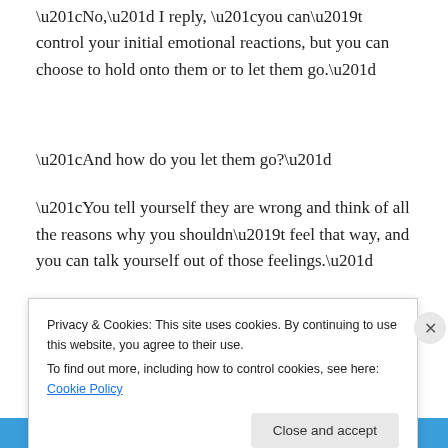“No,” I reply, “you can’t control your initial emotional reactions, but you can choose to hold onto them or to let them go.”
“And how do you let them go?”
“You tell yourself they are wrong and think of all the reasons why you shouldn’t feel that way, and you can talk yourself out of those feelings.”
Privacy & Cookies: This site uses cookies. By continuing to use this website, you agree to their use.
To find out more, including how to control cookies, see here: Cookie Policy